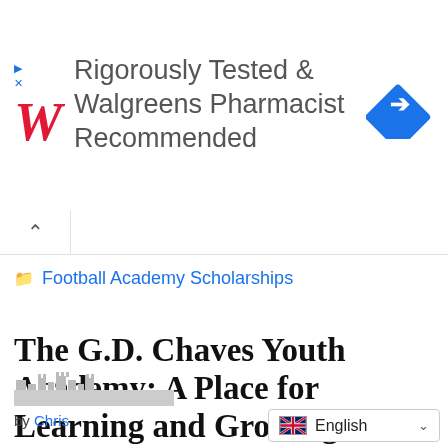[Figure (logo): Walgreens advertisement banner: Walgreens red cursive W logo, text 'Rigorously Tested & Walgreens Pharmacist Recommended', blue diamond navigation icon]
Football Academy Scholarships
The G.D. Chaves Youth Academy: A Place for Learning and Growing
by Chris
[Figure (illustration): Partial skyline silhouette at bottom of page]
English